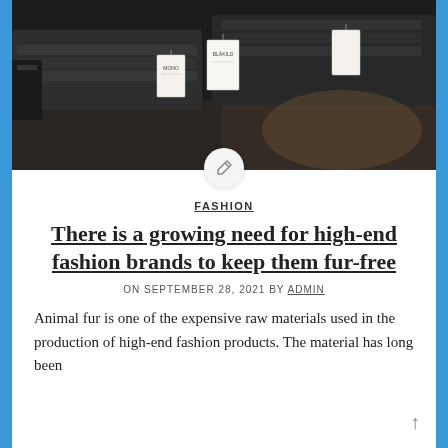[Figure (photo): Dark folded clothing items on a retail shelf with price tags hanging from them, shot in a dark/moody style.]
FASHION
There is a growing need for high-end fashion brands to keep them fur-free
ON SEPTEMBER 28, 2021 BY ADMIN
Animal fur is one of the expensive raw materials used in the production of high-end fashion products. The material has long been